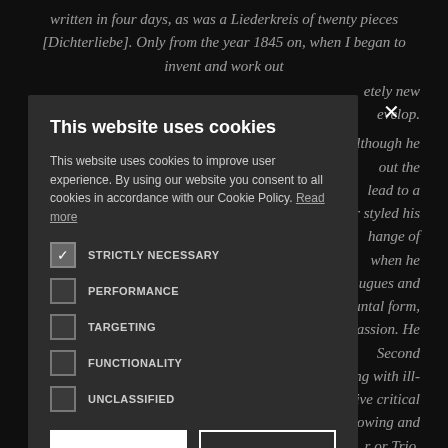written in four days, as was a Liederkreis of twenty pieces [Dichterliebe]. Only from the year 1845 on, when I began to invent and work out ...etely new ...evelop. ...lthough he ...out the ...lead to a ...r styled his ...hange of ...when he ...ugues and ...untal form, ...assion. He ...Second ...ing with ill-...sitive critical ...llowing and ...r or Trio.
This website uses cookies

This website uses cookies to improve user experience. By using our website you consent to all cookies in accordance with our Cookie Policy. Read more

STRICTLY NECESSARY
PERFORMANCE
TARGETING
FUNCTIONALITY
UNCLASSIFIED

ACCEPT ALL   DECLINE ALL

SHOW DETAILS